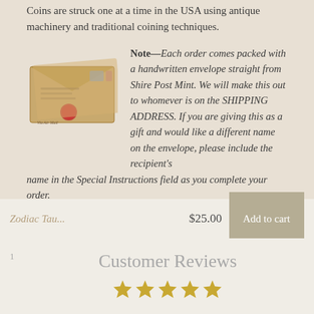Coins are struck one at a time in the USA using antique machinery and traditional coining techniques.
[Figure (photo): Photograph of a handwritten envelope from Shire Post Mint with a red wax seal]
Note—Each order comes packed with a handwritten envelope straight from Shire Post Mint. We will make this out to whomever is on the SHIPPING ADDRESS. If you are giving this as a gift and would like a different name on the envelope, please include the recipient's name in the Special Instructions field as you complete your order.
© Shire Post Mint. All rights reserved.
Zodiac Tau... $25.00 Add to cart
Customer Reviews